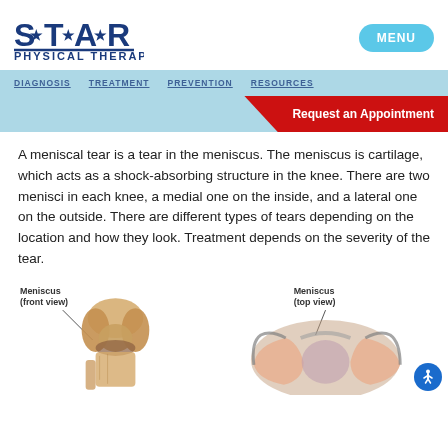[Figure (logo): STAR Physical Therapy logo with star decorations between letters]
MENU
DIAGNOSIS   TREATMENT   PREVENTION   RESOURCES
Request an Appointment
A meniscal tear is a tear in the meniscus. The meniscus is cartilage, which acts as a shock-absorbing structure in the knee. There are two menisci in each knee, a medial one on the inside, and a lateral one on the outside. There are different types of tears depending on the location and how they look. Treatment depends on the severity of the tear.
[Figure (illustration): Anatomical illustration of the knee showing Meniscus front view (left) and Meniscus top view (right)]